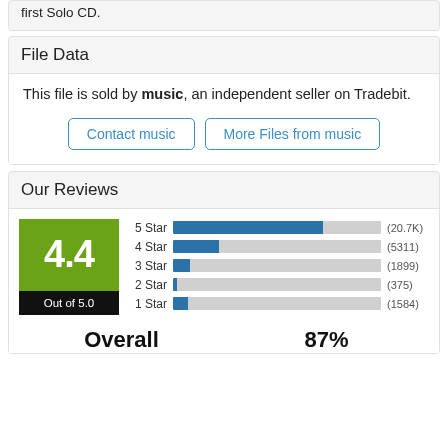first Solo CD.
File Data
This file is sold by music, an independent seller on Tradebit.
Contact music
More Files from music
Our Reviews
[Figure (bar-chart): Star ratings]
4.4 Out of 5.0
Overall
87%